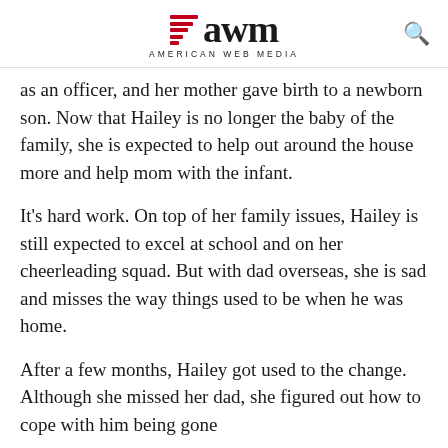awm AMERICAN WEB MEDIA
as an officer, and her mother gave birth to a newborn son. Now that Hailey is no longer the baby of the family, she is expected to help out around the house more and help mom with the infant.
It's hard work. On top of her family issues, Hailey is still expected to excel at school and on her cheerleading squad. But with dad overseas, she is sad and misses the way things used to be when he was home.
After a few months, Hailey got used to the change. Although she missed her dad, she figured out how to cope with him being gone